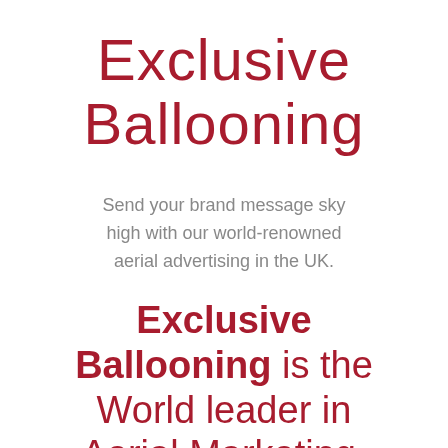Exclusive Ballooning
Send your brand message sky high with our world-renowned aerial advertising in the UK.
Exclusive Ballooning is the World leader in Aerial Marketing, operating in over